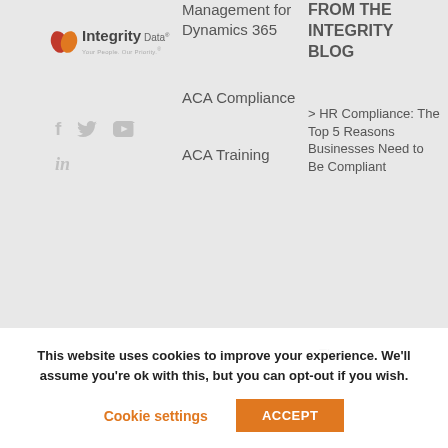[Figure (logo): Integrity Data logo with orange leaf icons and tagline 'Your People. Our Priority.']
[Figure (infographic): Social media icons: Facebook (f), Twitter, YouTube, LinkedIn]
Management for Dynamics 365
ACA Compliance
ACA Training
FROM THE INTEGRITY BLOG
> HR Compliance: The Top 5 Reasons Businesses Need to Be Compliant
> The
This website uses cookies to improve your experience. We'll assume you're ok with this, but you can opt-out if you wish.
Cookie settings
ACCEPT